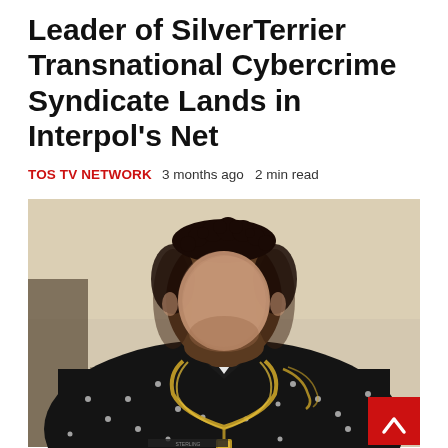Leader of SilverTerrier Transnational Cybercrime Syndicate Lands in Interpol's Net
TOS TV NETWORK  3 months ago  2 min read
[Figure (photo): A man in a black polka-dot shirt wearing a gold chain necklace; his face is blurred out for anonymity. The photo is taken indoors with a beige wall in the background. A red scroll-to-top button with a chevron arrow is overlaid in the bottom-right corner of the image.]